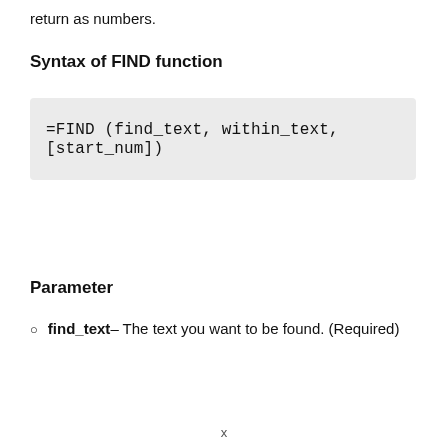return as numbers.
Syntax of FIND function
Parameter
find_text– The text you want to be found. (Required)
x